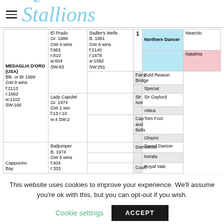Stallions
| Horse | Sire | GrandSire | # | Great-Grand Sire | Great-Great-Grand Sire |
| --- | --- | --- | --- | --- | --- |
| MEDAGLIA D'ORO (USA) Blk. or Br 1999 GW 8 wins f:2113 r:1662 w:1102 SW:166 | El Prado Gr. 1989 GW 4 wins f:983 r:810 w:604 SW:83 | Sadler's Wells B. 1981 GW 6 wins f:2140 r:1678 w:1082 SW:291 | 1 | Northern Dancer | Nearctic |
|  |  |  |  |  | Natalma |
|  |  |  |  | Fairy Bridge | Bold Reason |
|  |  |  |  |  | Special |
|  |  | Lady Capulet Gr. 1974 GW 1 win f:13 r:10 w:4 SW:2 |  | Sir Ivor | Sir Gaylord |
|  |  |  |  |  | Attica |
|  |  |  |  | Cap and Bells | Tom Fool |
|  |  |  |  |  | Ghazni |
|  | Cappucino Bay | Bailjumper B. 1974 GW 5 wins f:404 r:333 |  | Damascus | Sword Dancer |
|  |  |  |  |  | Kerala |
|  |  |  |  | Court | Royal Vale |
This website uses cookies to improve your experience. We'll assume you're ok with this, but you can opt-out if you wish.
Cookie settings  ACCEPT